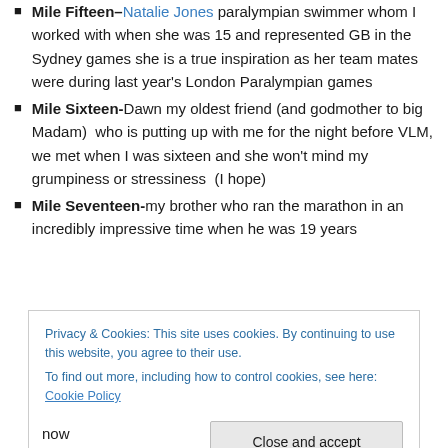Mile Fifteen–Natalie Jones paralympian swimmer whom I worked with when she was 15 and represented GB in the Sydney games she is a true inspiration as her team mates were during last year's London Paralympian games
Mile Sixteen-Dawn my oldest friend (and godmother to big Madam)  who is putting up with me for the night before VLM, we met when I was sixteen and she won't mind my grumpiness or stressiness  (I hope)
Mile Seventeen-my brother who ran the marathon in an incredibly impressive time when he was 19 years
Privacy & Cookies: This site uses cookies. By continuing to use this website, you agree to their use. To find out more, including how to control cookies, see here: Cookie Policy
now